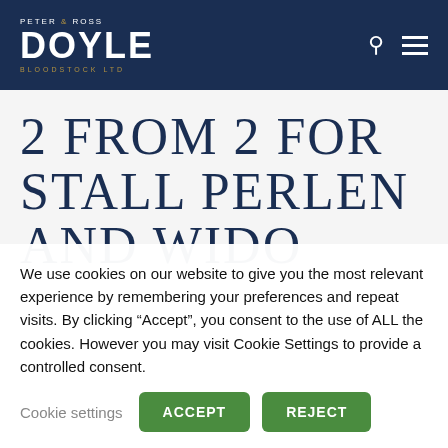Peter & Ross Doyle Bloodstock Ltd — navigation header
2 FROM 2 FOR STALL PERLEN AND WIDO
We use cookies on our website to give you the most relevant experience by remembering your preferences and repeat visits. By clicking “Accept”, you consent to the use of ALL the cookies. However you may visit Cookie Settings to provide a controlled consent.